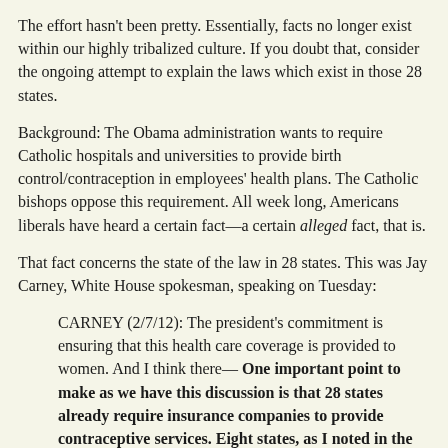The effort hasn't been pretty. Essentially, facts no longer exist within our highly tribalized culture. If you doubt that, consider the ongoing attempt to explain the laws which exist in those 28 states.
Background: The Obama administration wants to require Catholic hospitals and universities to provide birth control/contraception in employees' health plans. The Catholic bishops oppose this requirement. All week long, Americans liberals have heard a certain fact—a certain alleged fact, that is.
That fact concerns the state of the law in 28 states. This was Jay Carney, White House spokesman, speaking on Tuesday:
CARNEY (2/7/12): The president's commitment is ensuring that this health care coverage is provided to women. And I think there— One important point to make as we have this discussion is that 28 states already require insurance companies to provide contraceptive services. Eight states, as I noted in the past, provide no exemption, not even the exemption that the—the policy announced by Secretary Sebelius provides for churches and houses